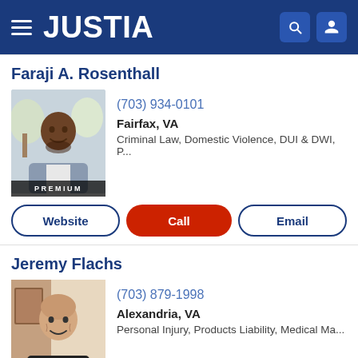JUSTIA
Faraji A. Rosenthall
(703) 934-0101
Fairfax, VA
Criminal Law, Domestic Violence, DUI & DWI, P...
Website | Call | Email
Jeremy Flachs
(703) 879-1998
Alexandria, VA
Personal Injury, Products Liability, Medical Ma...
Website | Call | Email